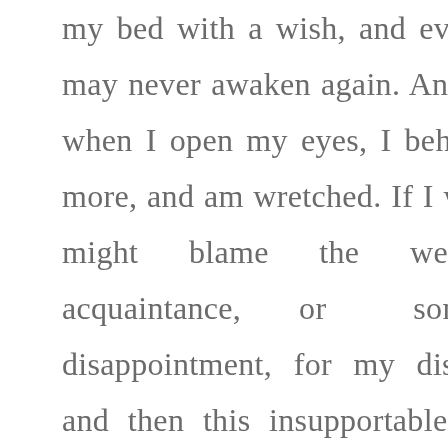my bed with a wish, and even a hope, that I may never awaken again. And in the morning, when I open my eyes, I behold the sun once more, and am wretched. If I were whimsical, I might blame the weather, or an acquaintance, or some personal disappointment, for my discontented mind; and then this insupportable load of trouble would not rest entirely upon myself. But, alas! I feel it too sadly. I am alone the cause of my own woe, am I not? Truly, my own bosom contains the source of all my sorrow, as it previously contained the source of all my pleasure. Am I not the same being who once enjoyed an excess of happiness, who, at every step, saw paradise open before him, and whose heart was ever expanded toward the whole world? And this heart is now dead, no sentiment can revive it; my eyes